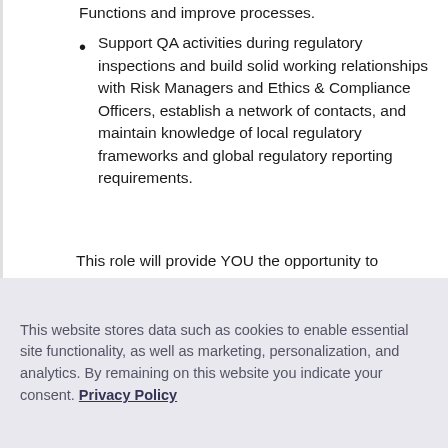Functions and improve processes.
Support QA activities during regulatory inspections and build solid working relationships with Risk Managers and Ethics & Compliance Officers, establish a network of contacts, and maintain knowledge of local regulatory frameworks and global regulatory reporting requirements.
This role will provide YOU the opportunity to
This website stores data such as cookies to enable essential site functionality, as well as marketing, personalization, and analytics. By remaining on this website you indicate your consent. Privacy Policy